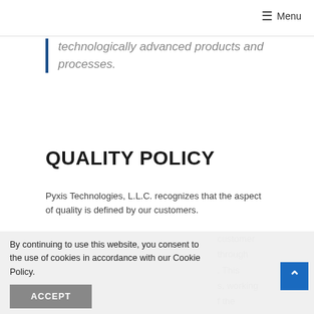Menu
technologically advanced products and processes.
QUALITY POLICY
Pyxis Technologies, L.L.C. recognizes that the aspect of quality is defined by our customers.
By continuing to use this website, you consent to the use of cookies in accordance with our Cookie Policy.
customer through . This s, working f the omer.